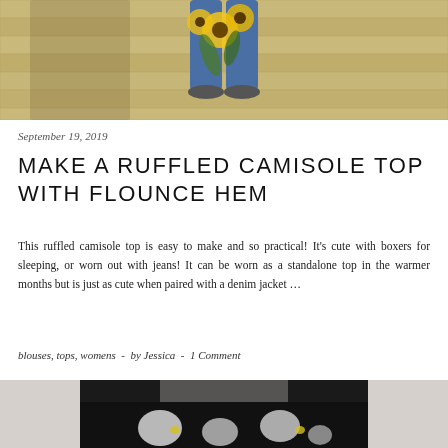[Figure (photo): Person holding sunflowers standing on a wooden deck, cropped showing legs and flowers from above]
September 19, 2019
MAKE A RUFFLED CAMISOLE TOP WITH FLOUNCE HEM
This ruffled camisole top is easy to make and so practical! It's cute with boxers for sleeping, or worn out with jeans! It can be worn as a standalone top in the warmer months but is just as cute when paired with a denim jacket …
blouses, tops, womens  -  by Jessica  -  1 Comment
[Figure (photo): Mannequin torso wearing black shorts or skirt with white and yellow floral print pattern]